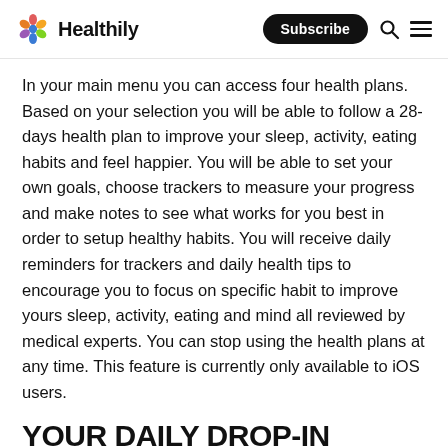Healthily | Subscribe
In your main menu you can access four health plans. Based on your selection you will be able to follow a 28-days health plan to improve your sleep, activity, eating habits and feel happier. You will be able to set your own goals, choose trackers to measure your progress and make notes to see what works for you best in order to setup healthy habits. You will receive daily reminders for trackers and daily health tips to encourage you to focus on specific habit to improve yours sleep, activity, eating and mind all reviewed by medical experts. You can stop using the health plans at any time. This feature is currently only available to iOS users.
YOUR DAILY DROP-IN
You can access Daily Drop-In within your App and